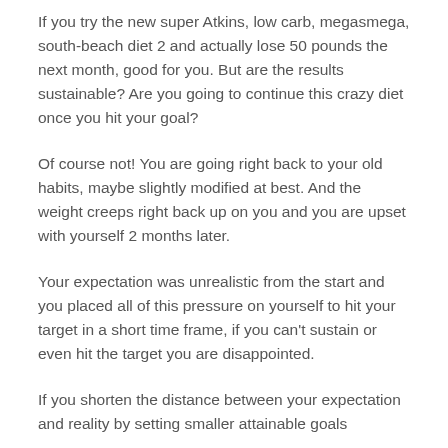If you try the new super Atkins, low carb, megasmega, south-beach diet 2 and actually lose 50 pounds the next month, good for you. But are the results sustainable? Are you going to continue this crazy diet once you hit your goal?
Of course not! You are going right back to your old habits, maybe slightly modified at best. And the weight creeps right back up on you and you are upset with yourself 2 months later.
Your expectation was unrealistic from the start and you placed all of this pressure on yourself to hit your target in a short time frame, if you can't sustain or even hit the target you are disappointed.
If you shorten the distance between your expectation and reality by setting smaller attainable goals